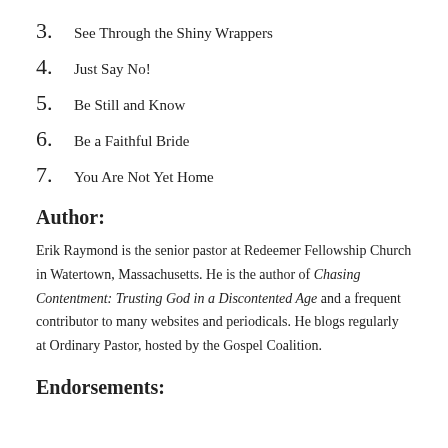3. See Through the Shiny Wrappers
4. Just Say No!
5. Be Still and Know
6. Be a Faithful Bride
7. You Are Not Yet Home
Author:
Erik Raymond is the senior pastor at Redeemer Fellowship Church in Watertown, Massachusetts. He is the author of Chasing Contentment: Trusting God in a Discontented Age and a frequent contributor to many websites and periodicals. He blogs regularly at Ordinary Pastor, hosted by the Gospel Coalition.
Endorsements: